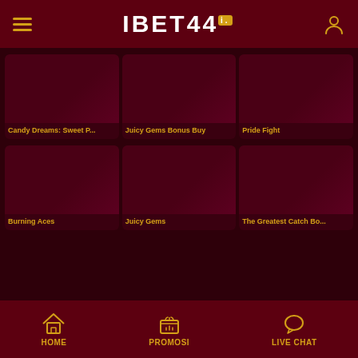IBET44
[Figure (screenshot): Game card thumbnail for Candy Dreams: Sweet P...]
Candy Dreams: Sweet P...
[Figure (screenshot): Game card thumbnail for Juicy Gems Bonus Buy]
Juicy Gems Bonus Buy
[Figure (screenshot): Game card thumbnail for Pride Fight]
Pride Fight
[Figure (screenshot): Game card thumbnail for Burning Aces]
Burning Aces
[Figure (screenshot): Game card thumbnail for Juicy Gems]
Juicy Gems
[Figure (screenshot): Game card thumbnail for The Greatest Catch Bo...]
The Greatest Catch Bo...
HOME  PROMOSI  LIVE CHAT